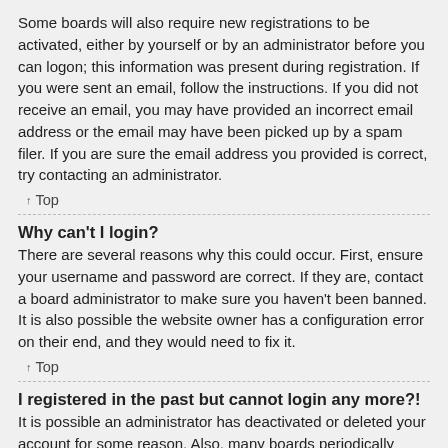Some boards will also require new registrations to be activated, either by yourself or by an administrator before you can logon; this information was present during registration. If you were sent an email, follow the instructions. If you did not receive an email, you may have provided an incorrect email address or the email may have been picked up by a spam filer. If you are sure the email address you provided is correct, try contacting an administrator.
↑ Top
Why can't I login?
There are several reasons why this could occur. First, ensure your username and password are correct. If they are, contact a board administrator to make sure you haven't been banned. It is also possible the website owner has a configuration error on their end, and they would need to fix it.
↑ Top
I registered in the past but cannot login any more?!
It is possible an administrator has deactivated or deleted your account for some reason. Also, many boards periodically remove users who have not posted for a long time to reduce